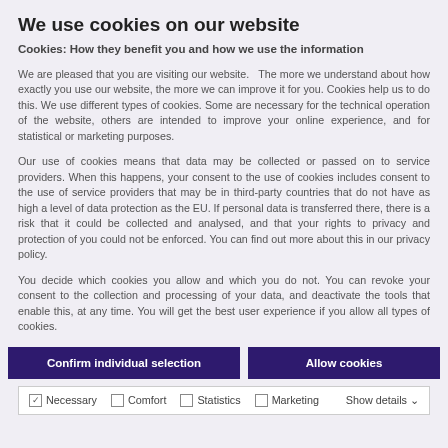We use cookies on our website
Cookies: How they benefit you and how we use the information
We are pleased that you are visiting our website.   The more we understand about how exactly you use our website, the more we can improve it for you. Cookies help us to do this. We use different types of cookies. Some are necessary for the technical operation of the website, others are intended to improve your online experience, and for statistical or marketing purposes.
Our use of cookies means that data may be collected or passed on to service providers. When this happens, your consent to the use of cookies includes consent to the use of service providers that may be in third-party countries that do not have as high a level of data protection as the EU. If personal data is transferred there, there is a risk that it could be collected and analysed, and that your rights to privacy and protection of you could not be enforced. You can find out more about this in our privacy policy.
You decide which cookies you allow and which you do not. You can revoke your consent to the collection and processing of your data, and deactivate the tools that enable this, at any time. You will get the best user experience if you allow all types of cookies.
Confirm individual selection | Allow cookies
✓ Necessary  □ Comfort  □ Statistics  □ Marketing  Show details ∨